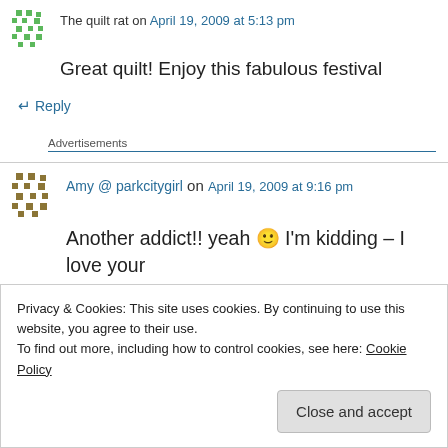The quilt rat on April 19, 2009 at 5:13 pm
Great quilt! Enjoy this fabulous festival
↳ Reply
Advertisements
Amy @ parkcitygirl on April 19, 2009 at 9:16 pm
Another addict!! yeah 🙂 I'm kidding – I love your
Privacy & Cookies: This site uses cookies. By continuing to use this website, you agree to their use. To find out more, including how to control cookies, see here: Cookie Policy
Close and accept